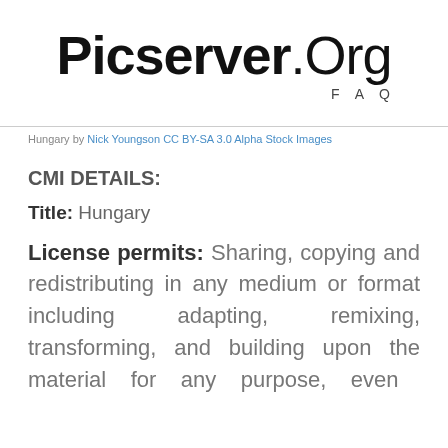Picserver.Org FAQ
Hungary by Nick Youngson CC BY-SA 3.0 Alpha Stock Images
CMI DETAILS:
Title: Hungary
License permits: Sharing, copying and redistributing in any medium or format including adapting, remixing, transforming, and building upon the material for any purpose, even